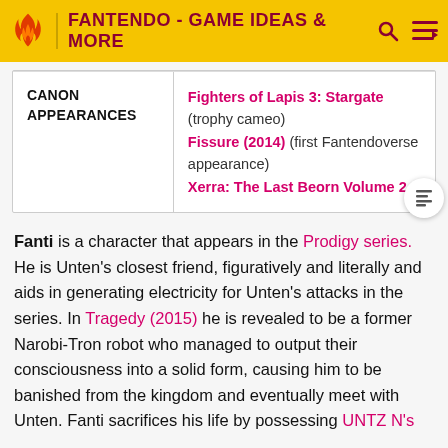FANTENDO - GAME IDEAS & MORE
| CANON APPEARANCES |  |
| --- | --- |
| CANON APPEARANCES | Fighters of Lapis 3: Stargate (trophy cameo) Fissure (2014) (first Fantendoverse appearance) Xerra: The Last Beorn Volume 2 |
Fanti is a character that appears in the Prodigy series. He is Unten's closest friend, figuratively and literally and aids in generating electricity for Unten's attacks in the series. In Tragedy (2015) he is revealed to be a former Narobi-Tron robot who managed to output their consciousness into a solid form, causing him to be banished from the kingdom and eventually meet with Unten. Fanti sacrifices his life by possessing UNTZ N's